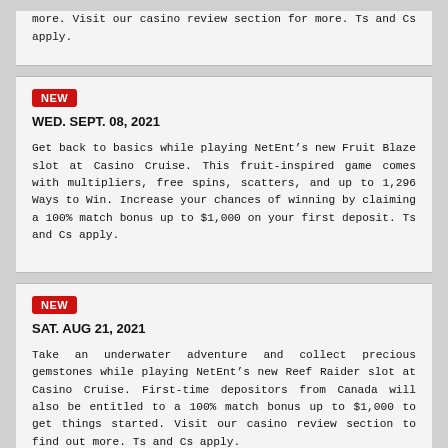more. Visit our casino review section for more. Ts and Cs apply.
NEW
WED. SEPT. 08, 2021
Get back to basics while playing NetEnt’s new Fruit Blaze slot at Casino Cruise. This fruit-inspired game comes with multipliers, free spins, scatters, and up to 1,296 Ways to Win. Increase your chances of winning by claiming a 100% match bonus up to $1,000 on your first deposit. Ts and Cs apply.
NEW
SAT. AUG 21, 2021
Take an underwater adventure and collect precious gemstones while playing NetEnt’s new Reef Raider slot at Casino Cruise. First-time depositors from Canada will also be entitled to a 100% match bonus up to $1,000 to get things started. Visit our casino review section to find out more. Ts and Cs apply.